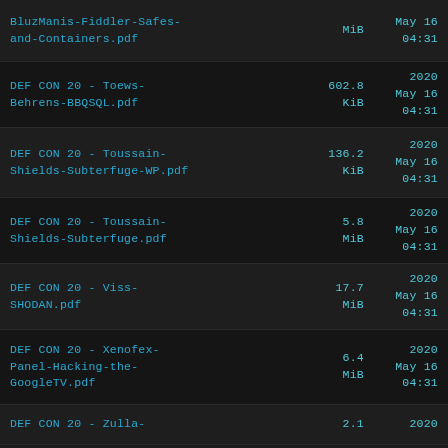BluzManis-Fiddler-Safes-and-Containers.pdf  MiB  2020 May 16 04:31
DEF CON 20 - Toews-Behrens-BBQSQL.pdf  602.8 KiB  2020 May 16 04:31
DEF CON 20 - Toussain-Shields-Subterfuge-WP.pdf  136.2 KiB  2020 May 16 04:31
DEF CON 20 - Toussain-Shields-Subterfuge.pdf  5.8 MiB  2020 May 16 04:31
DEF CON 20 - Viss-SHODAN.pdf  17.7 MiB  2020 May 16 04:31
DEF CON 20 - Xenofex-Panel-Hacking-the-GoogleTV.pdf  6.4 MiB  2020 May 16 04:31
DEF CON 20 - Zulla-...  2.1  2020 May 16